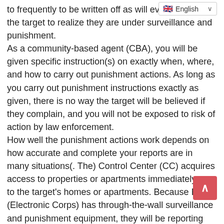to frequently to be written off as will eventually cause the target to realize they are under surveillance and punishment. As a community-based agent (CBA), you will be given specific instruction(s) on exactly when, where, and how to carry out punishment actions. As long as you carry out punishment instructions exactly as given, there is no way the target will be believed if they complain, and you will not be exposed to risk of action by law enforcement. How well the punishment actions work depends on how accurate and complete your reports are in many situations(. The) Control Center (CC) acquires access to properties or apartments immediately next to the target's homes or apartments. Because EC (Electronic Corps) has through-the-wall surveillance and punishment equipment, they will be reporting target activity along with community-based agents. In a typical setup, CBA's may be posted in a parked car where the target's home or apartment can be observed overnight, for example. In this setup, the CBA in the car may be instructed to